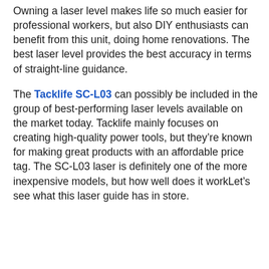Owning a laser level makes life so much easier for professional workers, but also DIY enthusiasts can benefit from this unit, doing home renovations. The best laser level provides the best accuracy in terms of straight-line guidance.
The Tacklife SC-L03 can possibly be included in the group of best-performing laser levels available on the market today. Tacklife mainly focuses on creating high-quality power tools, but they're known for making great products with an affordable price tag. The SC-L03 laser is definitely one of the more inexpensive models, but how well does it workLet's see what this laser guide has in store.